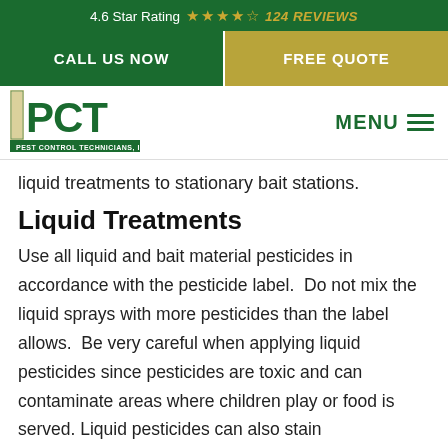4.6 Star Rating ★★★★½ 124 REVIEWS
CALL US NOW | FREE QUOTE
[Figure (logo): PCT Pest Control Technicians, Inc. logo in green]
MENU
liquid treatments to stationary bait stations.
Liquid Treatments
Use all liquid and bait material pesticides in accordance with the pesticide label.  Do not mix the liquid sprays with more pesticides than the label allows.  Be very careful when applying liquid pesticides since pesticides are toxic and can contaminate areas where children play or food is served. Liquid pesticides can also stain